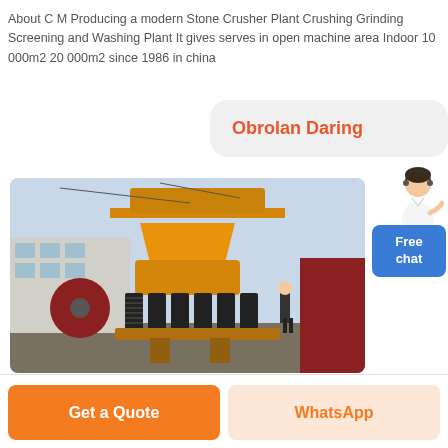About C M Producing a modern Stone Crusher Plant Crushing Grinding Screening and Washing Plant It gives serves in open machine area Indoor 10 000m2 20 000m2 since 1986 in china
[Figure (other): Orange/yellow chat bubble with bold orange text 'Obrolan Daring' on light gray rounded background, with a small female customer service avatar and a blue 'Free chat' button]
[Figure (photo): Photograph of a large yellow cone crusher machine outdoors in an industrial yard, with a factory building in background and a worker standing nearby]
Get a Quote
WhatsApp